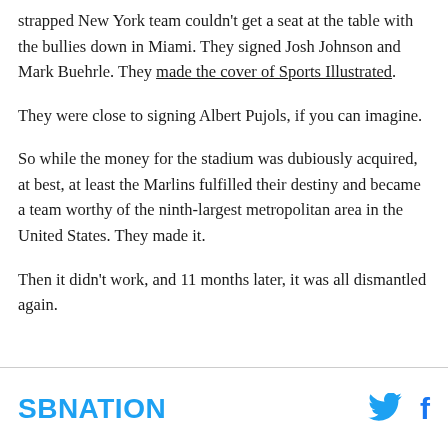strapped New York team couldn't get a seat at the table with the bullies down in Miami. They signed Josh Johnson and Mark Buehrle. They made the cover of Sports Illustrated.
They were close to signing Albert Pujols, if you can imagine.
So while the money for the stadium was dubiously acquired, at best, at least the Marlins fulfilled their destiny and became a team worthy of the ninth-largest metropolitan area in the United States. They made it.
Then it didn't work, and 11 months later, it was all dismantled again.
SBNATION